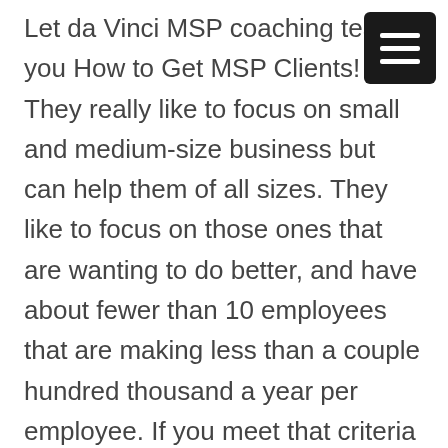Let da Vinci MSP coaching teach you How to Get MSP Clients! They really like to focus on small and medium-size business but can help them of all sizes. They like to focus on those ones that are wanting to do better, and have about fewer than 10 employees that are making less than a couple hundred thousand a year per employee. If you meet that criteria da Vinci would like to show you how you can build multiple successful companies that operate at twice the industry standard. Now no da Vinci is not going to be helping you if you are not also trying to